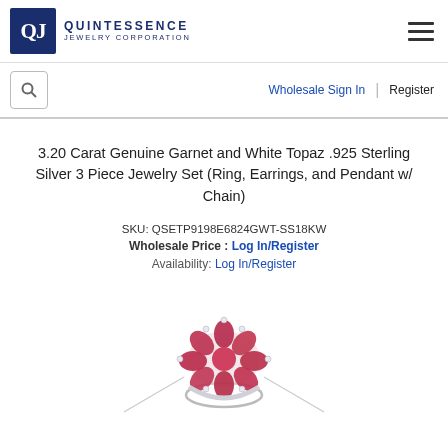QJ QUINTESSENCE JEWELRY CORPORATION
3.20 Carat Genuine Garnet and White Topaz .925 Sterling Silver 3 Piece Jewelry Set (Ring, Earrings, and Pendant w/ Chain)
SKU: QSETP9198E6824GWT-SS18KW
Wholesale Price : Log In/Register
Availability: Log In/Register
[Figure (photo): Silver flower cluster ring with red/pink garnet and white topaz gemstones, with a chain necklace visible below.]